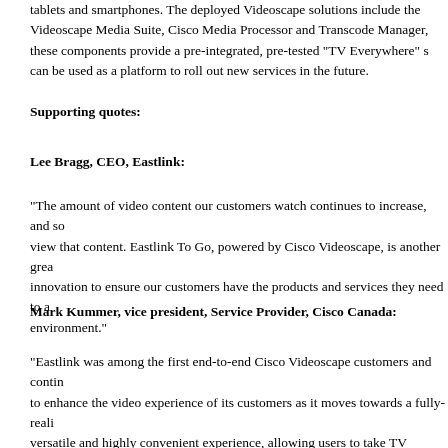tablets and smartphones. The deployed Videoscape solutions include the Videoscape Media Suite, Cisco Media Processor and Transcode Manager, these components provide a pre-integrated, pre-tested "TV Everywhere" solution that can be used as a platform to roll out new services in the future.
Supporting quotes:
Lee Bragg, CEO, Eastlink:
“The amount of video content our customers watch continues to increase, and so do the ways they view that content. Eastlink To Go, powered by Cisco Videoscape, is another great example of our innovation to ensure our customers have the products and services they need to adapt to the changing environment.”
Mark Kummer, vice president, Service Provider, Cisco Canada:
“Eastlink was among the first end-to-end Cisco Videoscape customers and continues to be a leader to enhance the video experience of its customers as it moves towards a fully-realized TV Everywhere versatile and highly convenient experience, allowing users to take TV service with them anywhere. In today’s growing competitive climate, service providers need to constantly evolve and Cisco provides the tools they can use to stay at the top of the game.”